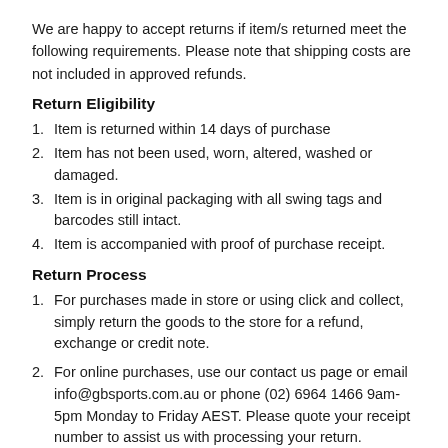We are happy to accept returns if item/s returned meet the following requirements. Please note that shipping costs are not included in approved refunds.
Return Eligibility
Item is returned within 14 days of purchase
Item has not been used, worn, altered, washed or damaged.
Item is in original packaging with all swing tags and barcodes still intact.
Item is accompanied with proof of purchase receipt.
Return Process
For purchases made in store or using click and collect, simply return the goods to the store for a refund, exchange or credit note.
For online purchases, use our contact us page or email info@gbsports.com.au or phone (02) 6964 1466 9am-5pm Monday to Friday AEST. Please quote your receipt number to assist us with processing your return.